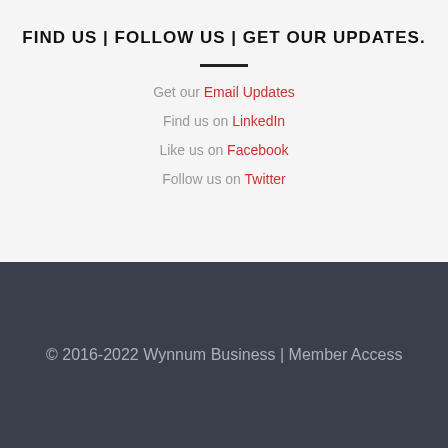FIND US | FOLLOW US | GET OUR UPDATES.
Get our Email Updates
Find us on LinkedIn
Like us on Facebook
Follow us on Twitter
© 2016-2022 Wynnum Business | Member Access